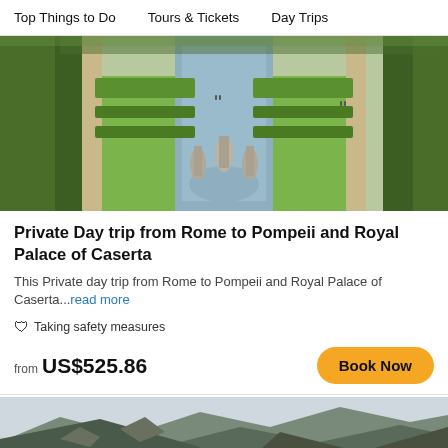Top Things to Do   Tours & Tickets   Day Trips
[Figure (photo): Aerial view of the Royal Palace of Caserta gardens with fountains, statues, long water canal, and tree-lined avenues]
Private Day trip from Rome to Pompeii and Royal Palace of Caserta
This Private day trip from Rome to Pompeii and Royal Palace of Caserta...read more
Taking safety measures
from US$525.86
[Figure (photo): Mountain landscape with rugged rocky peaks and a small town nestled at the base]